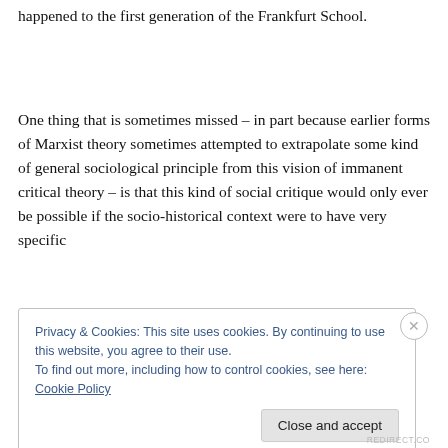happened to the first generation of the Frankfurt School.
One thing that is sometimes missed – in part because earlier forms of Marxist theory sometimes attempted to extrapolate some kind of general sociological principle from this vision of immanent critical theory – is that this kind of social critique would only ever be possible if the socio-historical context were to have very specific
Privacy & Cookies: This site uses cookies. By continuing to use this website, you agree to their use.
To find out more, including how to control cookies, see here: Cookie Policy
Close and accept
REDIRECT.CO